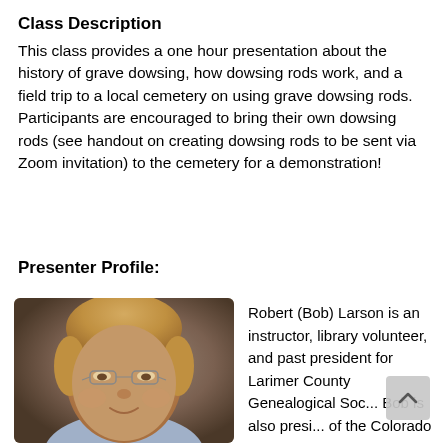Class Description
This class provides a one hour presentation about the history of grave dowsing, how dowsing rods work, and a field trip to a local cemetery on using grave dowsing rods. Participants are encouraged to bring their own dowsing rods (see handout on creating dowsing rods to be sent via Zoom invitation) to the cemetery for a demonstration!
Presenter Profile:
[Figure (photo): Headshot portrait of Robert (Bob) Larson, an older man with light reddish-gray hair and glasses, wearing a collared shirt, against a blurred background.]
Robert (Bob) Larson is an instructor, library volunteer, and past president for Larimer County Genealogical Soc... Bob is also presi... of the Colorado